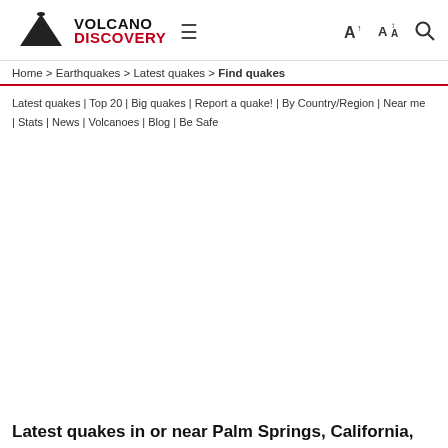VOLCANO DISCOVERY [logo] [menu] [font controls] [search]
Home > Earthquakes > Latest quakes > Find quakes
Latest quakes | Top 20 | Big quakes | Report a quake! | By Country/Region | Near me | Stats | News | Volcanoes | Blog | Be Safe
Latest quakes in or near Palm Springs, California,